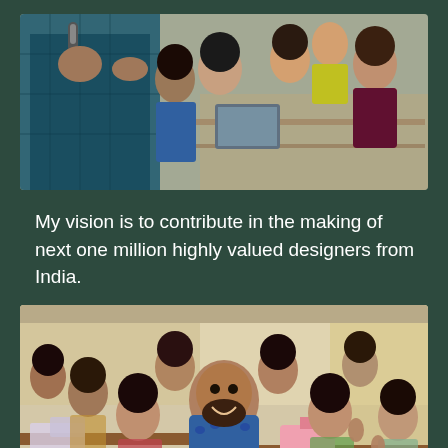[Figure (photo): A person holding a microphone speaking to students seated in a classroom. Students appear engaged, some smiling and raising hands.]
My vision is to contribute in the making of next one million highly valued designers from India.
[Figure (photo): A group selfie photo of a man in a blue patterned kurta smiling broadly surrounded by many students in a classroom setting, some giving thumbs up.]